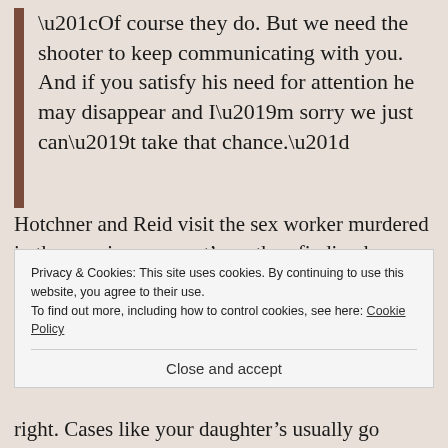“Of course they do. But we need the shooter to keep communicating with you. And if you satisfy his need for attention he may disappear and I’m sorry we just can’t take that chance.”
Hotchner and Reid visit the sex worker murdered in the opening segment’s mother, finding her drinking, stressed, and caring for her grandchildren. She tells them, “You wouldn’t even be here if it wasn’t for them,” referring to the
Privacy & Cookies: This site uses cookies. By continuing to use this website, you agree to their use.
To find out more, including how to control cookies, see here: Cookie Policy
Close and accept
right. Cases like your daughter’s usually go